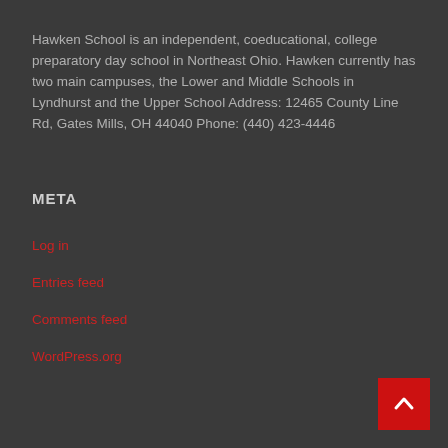Hawken School is an independent, coeducational, college preparatory day school in Northeast Ohio. Hawken currently has two main campuses, the Lower and Middle Schools in Lyndhurst and the Upper School Address: 12465 County Line Rd, Gates Mills, OH 44040 Phone: (440) 423-4446
META
Log in
Entries feed
Comments feed
WordPress.org